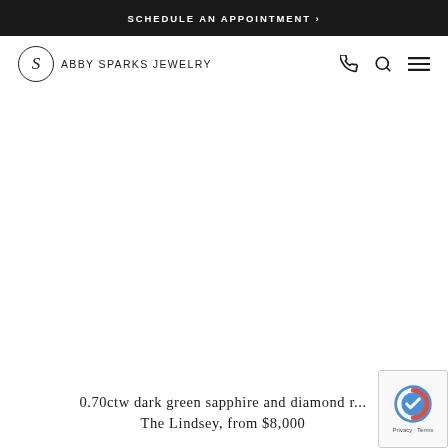SCHEDULE AN APPOINTMENT >
[Figure (logo): Abby Sparks Jewelry logo with circular S emblem and navigation icons (phone, search, hamburger menu)]
[Figure (photo): Large product photo area (appears blank/white in this view)]
0.70ctw dark green sapphire and diamond r... The Lindsey, from $8,000